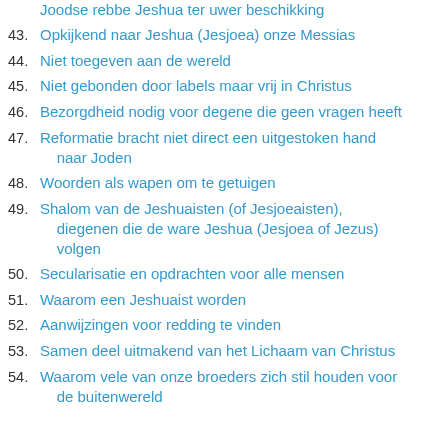Joodse rebbe Jeshua ter uwer beschikking
43. Opkijkend naar Jeshua (Jesjoea) onze Messias
44. Niet toegeven aan de wereld
45. Niet gebonden door labels maar vrij in Christus
46. Bezorgdheid nodig voor degene die geen vragen heeft
47. Reformatie bracht niet direct een uitgestoken hand naar Joden
48. Woorden als wapen om te getuigen
49. Shalom van de Jeshuaisten (of Jesjoeaisten), diegenen die de ware Jeshua (Jesjoea of Jezus) volgen
50. Secularisatie en opdrachten voor alle mensen
51. Waarom een Jeshuaist worden
52. Aanwijzingen voor redding te vinden
53. Samen deel uitmakend van het Lichaam van Christus
54. Waarom vele van onze broeders zich stil houden voor de buitenwereld